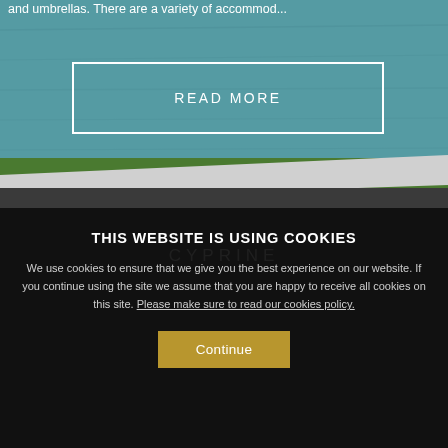and umbrellas. There are a variety of accommod...
READ MORE
[Figure (photo): Teal/blue textured pool or wall background with grass and white ledge at bottom]
THIS WEBSITE IS USING COOKIES
CYPRINE
We use cookies to ensure that we give you the best experience on our website. If you continue using the site we assume that you are happy to receive all cookies on this site. Please make sure to read our cookies policy.
Continue